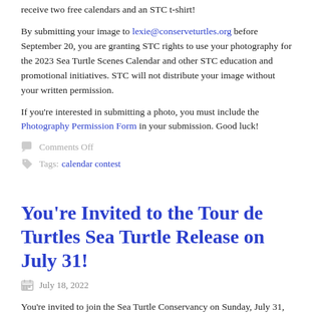By submitting your image to lexie@conserveturtles.org before September 20, you are granting STC rights to use your photography for the 2023 Sea Turtle Scenes Calendar and other STC education and promotional initiatives. STC will not distribute your image without your written permission.
If you're interested in submitting a photo, you must include the Photography Permission Form in your submission. Good luck!
Comments Off
Tags: calendar contest
You're Invited to the Tour de Turtles Sea Turtle Release on July 31!
July 18, 2022
You're invited to join the Sea Turtle Conservancy on Sunday, July 31, in the heart of the Archie Carr National Wildlife Refuge